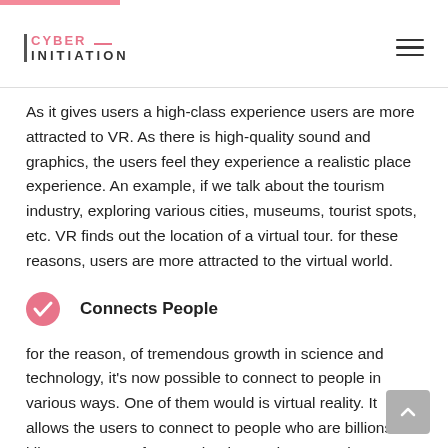CYBER INITIATION
As it gives users a high-class experience users are more attracted to VR. As there is high-quality sound and graphics, the users feel they experience a realistic place experience. An example, if we talk about the tourism industry, exploring various cities, museums, tourist spots, etc. VR finds out the location of a virtual tour. for these reasons, users are more attracted to the virtual world.
Connects People
for the reason, of tremendous growth in science and technology, it's now possible to connect to people in various ways. One of them would is virtual reality. It allows the users to connect to people who are billions of kilometres away from each other and connect them on